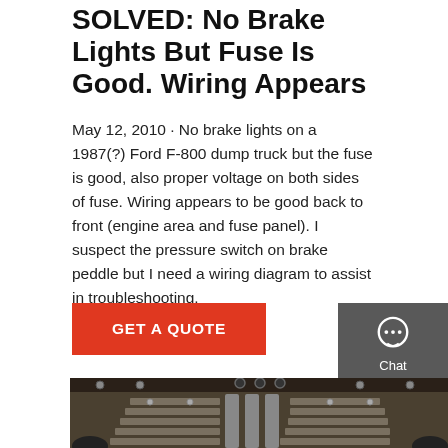SOLVED: No Brake Lights But Fuse Is Good. Wiring Appears
May 12, 2010 · No brake lights on a 1987(?) Ford F-800 dump truck but the fuse is good, also proper voltage on both sides of fuse. Wiring appears to be good back to front (engine area and fuse panel). I suspect the pressure switch on brake peddle but I need a wiring diagram to assist in troubleshooting.
GET A QUOTE
[Figure (screenshot): Sidebar with Chat, Email, and Contact icons on dark grey background]
[Figure (photo): Photo showing the underside/mechanical components of a truck, including what appears to be a conveyor or leaf spring assembly in dark metallic tones]